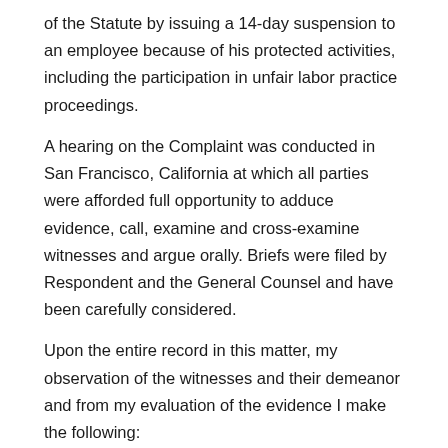of the Statute by issuing a 14-day suspension to an employee because of his protected activities, including the participation in unfair labor practice proceedings.
A hearing on the Complaint was conducted in San Francisco, California at which all parties were afforded full opportunity to adduce evidence, call, examine and cross-examine witnesses and argue orally. Briefs were filed by Respondent and the General Counsel and have been carefully considered.
Upon the entire record in this matter, my observation of the witnesses and their demeanor and from my evaluation of the evidence I make the following:
Findings of Fact
1. Edward E. Robinson at all times material herein was employed as a printing clerk at Respondent's Print Plant at the Presidio.(1) While employed at the Presidio, Robinson